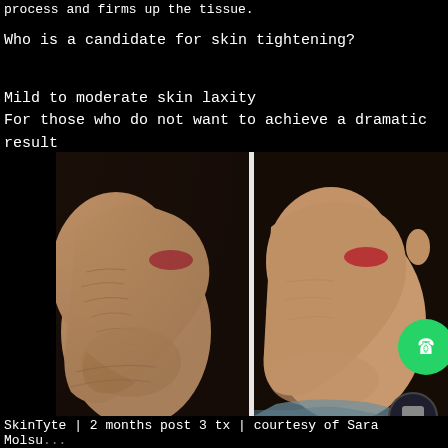process and firms up the tissue.
Who is a candidate for skin tightening?
Mild to moderate skin laxity
For those who do not want to achieve a dramatic result
[Figure (photo): Before and after side-by-side profile photos of a woman's face/neck showing skin tightening results]
SkinTyte | 2 months post 3 tx | courtesy of Sara Molsu...